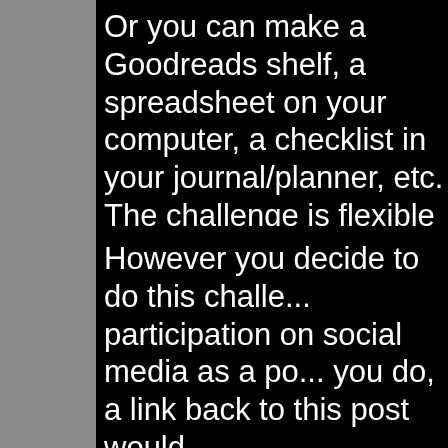Or you can make a Goodreads shelf, a spreadsheet on your computer, a checklist in your journal/planner, etc. The challenge is flexible for YOU.
However you decide to do this challenge, please share your participation on social media as a post or in your stories. If you do, a link back to this post would be appreciated!
Hashtags for social media: #Read...
The StoryGraph: Because reading...